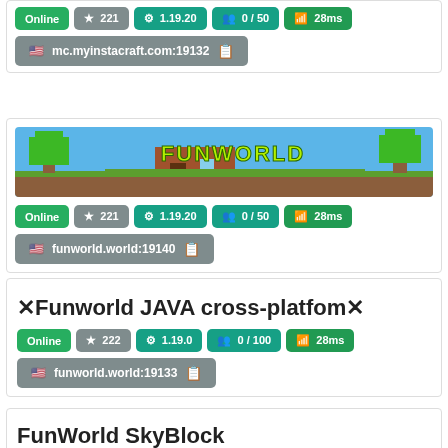[Figure (screenshot): Top partial card showing green/gray/teal badge row and address bar with mc.myinstacraft.com:19132]
[Figure (screenshot): FunWorld server banner with game-style graphic and FUNWORLD text]
Online  ★ 221  ⚙ 1.19.20  👥 0 / 50  📶 28ms
🇺🇸 funworld.world:19140
✕Funworld JAVA cross-platfom✕
Online  ★ 222  ⚙ 1.19.0  👥 0 / 100  📶 28ms
🇺🇸 funworld.world:19133
FunWorld SkyBlock